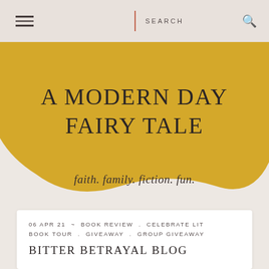≡  |  SEARCH  🔍
A MODERN DAY FAIRY TALE
faith. family. fiction. fun.
06 APR 21 ~ BOOK REVIEW . CELEBRATE LIT BOOK TOUR . GIVEAWAY . GROUP GIVEAWAY
BITTER BETRAYAL BLOG